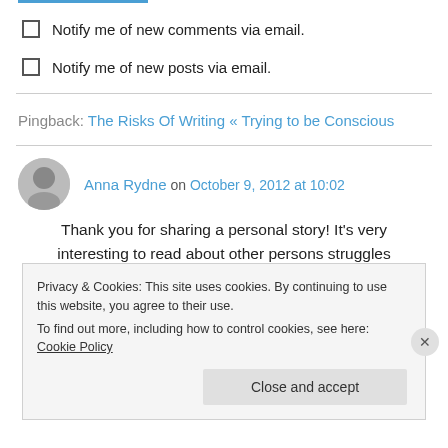Notify me of new comments via email.
Notify me of new posts via email.
Pingback: The Risks Of Writing « Trying to be Conscious
Anna Rydne on October 9, 2012 at 10:02
Thank you for sharing a personal story! It's very interesting to read about other persons struggles
Privacy & Cookies: This site uses cookies. By continuing to use this website, you agree to their use. To find out more, including how to control cookies, see here: Cookie Policy
Close and accept